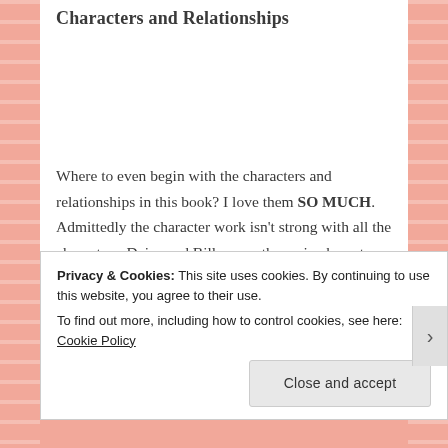Characters and Relationships
Where to even begin with the characters and relationships in this book? I love them SO MUCH. Admittedly the character work isn't strong with all the characters. Daisy and Billy were the main characters with Graham and Karen being the secondary main characters. The others were in the
Privacy & Cookies: This site uses cookies. By continuing to use this website, you agree to their use.
To find out more, including how to control cookies, see here: Cookie Policy
Close and accept